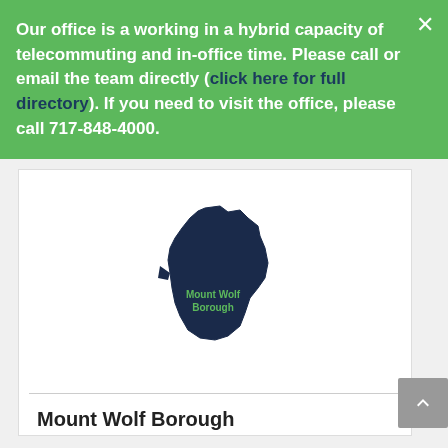Our office is a working in a hybrid capacity of telecommuting and in-office time. Please call or email the team directly (click here for full directory). If you need to visit the office, please call 717-848-4000.
[Figure (map): Map shape of Mount Wolf Borough shown as a dark navy blue silhouette with 'Mount Wolf Borough' label in green text inside the shape]
Mount Wolf Borough